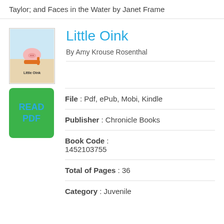Taylor; and Faces in the Water by Janet Frame
Little Oink
By Amy Krouse Rosenthal
[Figure (illustration): Book cover thumbnail for Little Oink showing a cartoon pig illustration]
[Figure (other): Green READ PDF button]
File : Pdf, ePub, Mobi, Kindle
Publisher : Chronicle Books
Book Code : 1452103755
Total of Pages : 36
Category : Juvenile